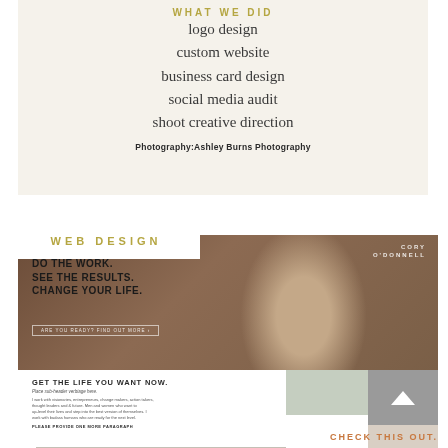WHAT WE DID
logo design
custom website
business card design
social media audit
shoot creative direction
Photography:Ashley Burns Photography
WEB DESIGN
[Figure (screenshot): Website mockup for Cory O'Donnell with hero image of a woman in green jacket against brick wall. Headline reads: DO THE WORK. SEE THE RESULTS. CHANGE YOUR LIFE. Button: ARE YOU READY? FIND OUT MORE >. Below: GET THE LIFE YOU WANT NOW. section with placeholder body text. CHECK THIS OUT. in orange at bottom right.]